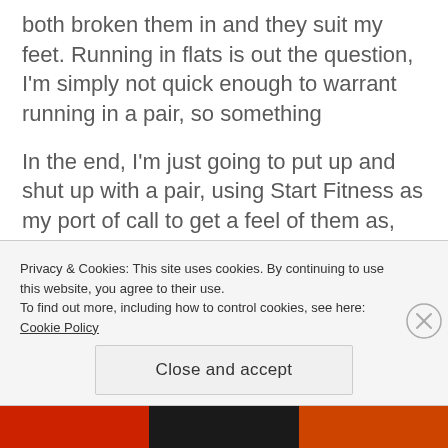both broken them in and they suit my feet. Running in flats is out the question, I'm simply not quick enough to warrant running in a pair, so something
In the end, I'm just going to put up and shut up with a pair, using Start Fitness as my port of call to get a feel of them as, buying shoes online is like Russian Roulette, they either fit magically and you're good or, they're slightly off, leaving you to, unavoidably of course, paying to send them back
Privacy & Cookies: This site uses cookies. By continuing to use this website, you agree to their use.
To find out more, including how to control cookies, see here: Cookie Policy
Close and accept